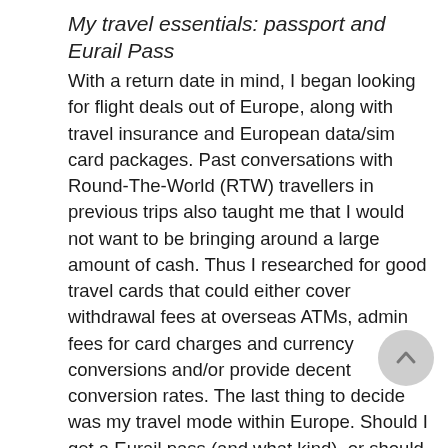My travel essentials: passport and Eurail Pass
With a return date in mind, I began looking for flight deals out of Europe, along with travel insurance and European data/sim card packages. Past conversations with Round-The-World (RTW) travellers in previous trips also taught me that I would not want to be bringing around a large amount of cash. Thus I researched for good travel cards that could either cover withdrawal fees at overseas ATMs, admin fees for card charges and currency conversions and/or provide decent conversion rates. The last thing to decide was my travel mode within Europe. Should I get a Eurail pass (and what kind), or should I buy my tickets from point-to-point? To help me decide, I had to create a rough travel itinerary from start to end to see which option(s) would make better economic sense. With all that (more or less) done, I settled my